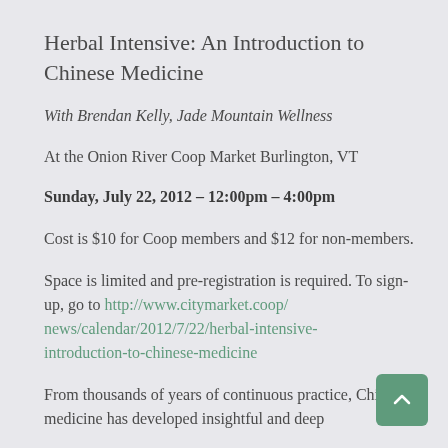Herbal Intensive: An Introduction to Chinese Medicine
With Brendan Kelly, Jade Mountain Wellness
At the Onion River Coop Market Burlington, VT
Sunday, July 22, 2012 – 12:00pm – 4:00pm
Cost is $10 for Coop members and $12 for non-members.
Space is limited and pre-registration is required. To sign-up, go to http://www.citymarket.coop/news/calendar/2012/7/22/herbal-intensive-introduction-to-chinese-medicine
From thousands of years of continuous practice, Chinese medicine has developed insightful and deep